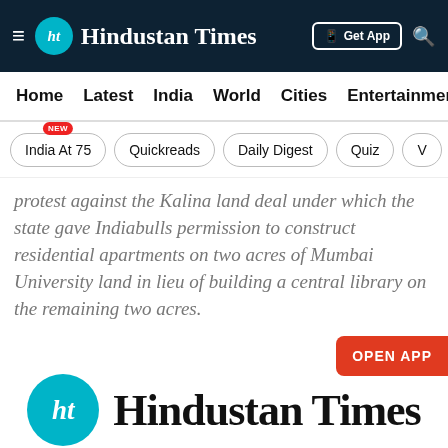Hindustan Times
Home  Latest  India  World  Cities  Entertainment
India At 75  Quickreads  Daily Digest  Quiz  V
protest against the Kalina land deal under which the state gave Indiabulls permission to construct residential apartments on two acres of Mumbai University land in lieu of building a central library on the remaining two acres.
[Figure (logo): Hindustan Times logo — teal HT circle with Hindustan Times text in black serif font]